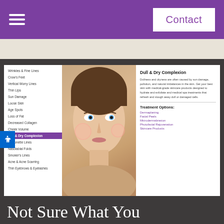Contact
[Figure (screenshot): Medical spa website interface showing a navigation sidebar with skin conditions listed, a woman's face with cheek highlights, and information panel about Dull & Dry Complexion with treatment options]
Wrinkles & Fine Lines
Crow's Feet
Vertical Worry Lines
Thin Lips
Sun Damage
Loose Skin
Age Spots
Loss of Fat
Decreased Collagen
Cheek Volume
Dull & Dry Complexion
Marionette Lines
Nasolabial Folds
Smoker's Lines
Acne & Acne Scarring
Thin Eyebrows & Eyelashes
Dull & Dry Complexion
Dullness and dryness are often caused by sun damage, pollution, and natural imbalances in the skin. Get your best skin with medical-grade skincare products designed to hydrate and exfoliate and medical spa treatments that refresh and slough away dull or damaged cells.
Treatment Options:
Dermaplaning
Facial Peels
Microdermabrasion
Photofacial Rejuvenation
Skincare Products
Not Sure What You Need?